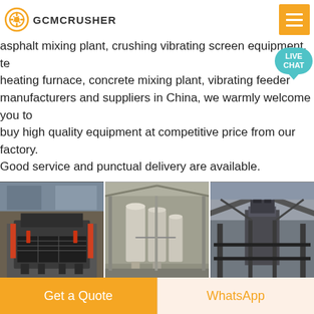GCMCRUSHER
asphalt mixing plant, crushing vibrating screen equipment, t… heating furnace, concrete mixing plant, vibrating feeder manufacturers and suppliers in China, we warmly welcome you to buy high quality equipment at competitive price from our factory. Good service and punctual delivery are available.
[Figure (photo): Three photos of heavy industrial machinery and factory equipment: impact crusher, powder/cement silos inside warehouse, and large outdoor crushing/screening plant.]
AZEUS MACHINERY CO., LTD.
AZEUS Machinery Co., Ltd. Free member Since 2017 Henan
Get a Quote
WhatsApp